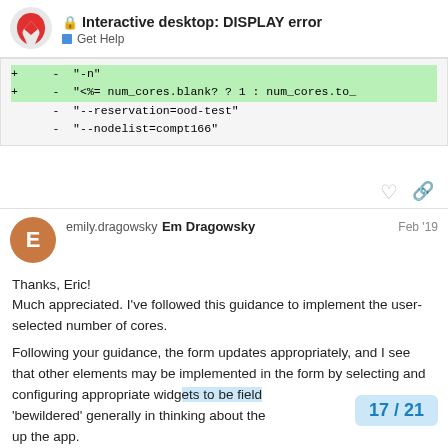Interactive desktop: DISPLAY error | Get Help
+ - "-n"
+ - "<%= num_cores.blank? ? 1 : num_cores.to_
  - "--reservation=ood-test"
  - "--nodelist=compt166"
emily.dragowsky Em Dragowsky Feb '19
Thanks, Eric!
Much appreciated. I've followed this guidance to implement the user-selected number of cores.

Following your guidance, the form updates appropriately, and I see that other elements may be implemented in the form by selecting and configuring appropriate widgets to be field... 'bewildered' generally in thinking about the... up the app.